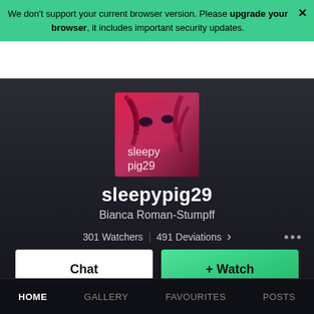We don't support your current browser version. Please upgrade your browser, it includes important security updates.
[Figure (illustration): User avatar/profile image for sleepypig29 showing anime-style illustration with pink/magenta tones and text overlay 'sleepy pig29']
sleepypig29
Bianca Roman-Stumpff
301 Watchers | 491 Deviations >
Chat
+ Watch
HOME   GALLERY   FAVOURITES   POSTS